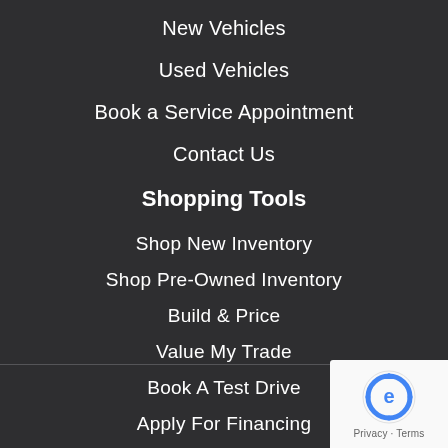New Vehicles
Used Vehicles
Book a Service Appointment
Contact Us
Shopping Tools
Shop New Inventory
Shop Pre-Owned Inventory
Build & Price
Value My Trade
Book A Test Drive
Apply For Financing
[Figure (logo): Google reCAPTCHA badge with Privacy and Terms links]